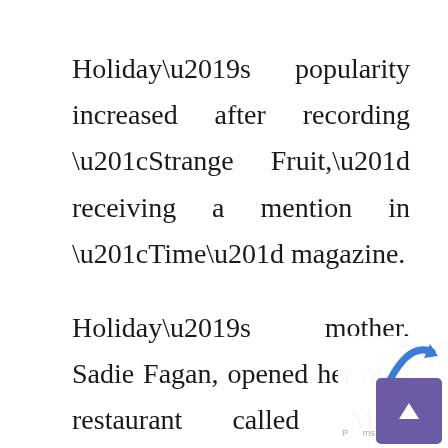Holiday's popularity increased after recording “Strange Fruit,” receiving a mention in “Time” magazine.
Holiday’s mother, Sadie Fagan, opened her own restaurant called Mom Holiday’s. Fagan used money from her daughter when the restaurant was not profitable, and eventually was borrowing large amounts from Holiday. Holiday obliged, but soon fell upon hard times herself. When she asked her mother for some money her